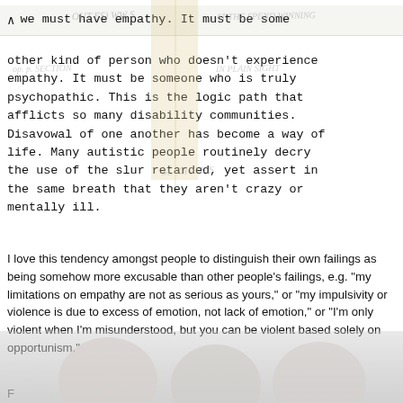we must have empathy. It must be some other kind of person who doesn't experience empathy. It must be someone who is truly psychopathic. This is the logic path that afflicts so many disability communities. Disavowal of one another has become a way of life. Many autistic people routinely decry the use of the slur retarded, yet assert in the same breath that they aren't crazy or mentally ill.
I love this tendency amongst people to distinguish their own failings as being somehow more excusable than other people's failings, e.g. "my limitations on empathy are not as serious as yours," or "my impulsivity or violence is due to excess of emotion, not lack of emotion," or "I'm only violent when I'm misunderstood, but you can be violent based solely on opportunism."
F...